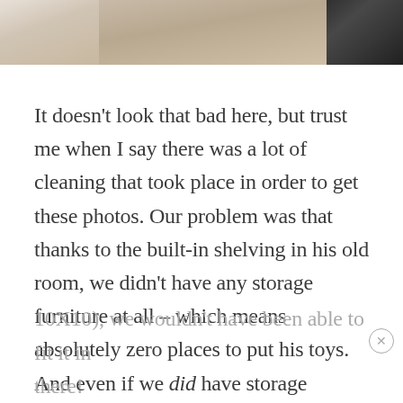[Figure (photo): Partial photo strip at top of page showing what appears to be a room scene with carpet/rug visible, partially cut off]
It doesn't look that bad here, but trust me when I say there was a lot of cleaning that took place in order to get these photos. Our problem was that thanks to the built-in shelving in his old room, we didn't have any storage furniture at all – which means absolutely zero places to put his toys. And even if we did have storage furniture, the room was so tiny (it's slightly smaller than 10X10), we wouldn't have been able to fit it in there!